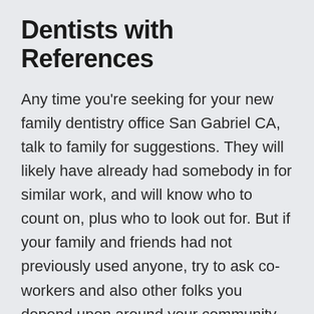Dentists with References
Any time you're seeking for your new family dentistry office San Gabriel CA, talk to family for suggestions. They will likely have already had somebody in for similar work, and will know who to count on, plus who to look out for. But if your family and friends had not previously used anyone, try to ask co-workers and also other folks you depend upon around your community for some work references. Anybody might appear as if they are aware of what they are doing, nevertheless, you can't simply take their word for it. You'll want to be able to get in touch with prior customers in order to really have an